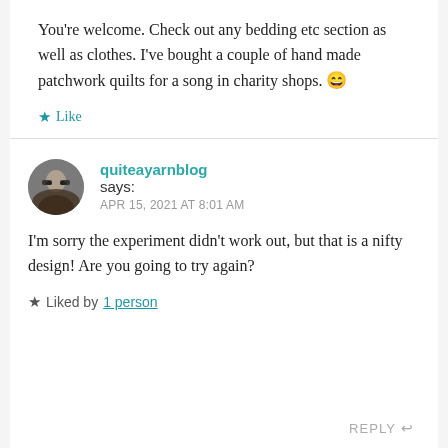You're welcome. Check out any bedding etc section as well as clothes. I've bought a couple of hand made patchwork quilts for a song in charity shops. 😄
★ Like
quiteayarnblog says: APR 15, 2021 AT 8:01 AM
I'm sorry the experiment didn't work out, but that is a nifty design! Are you going to try again?
★ Liked by 1 person
REPLY